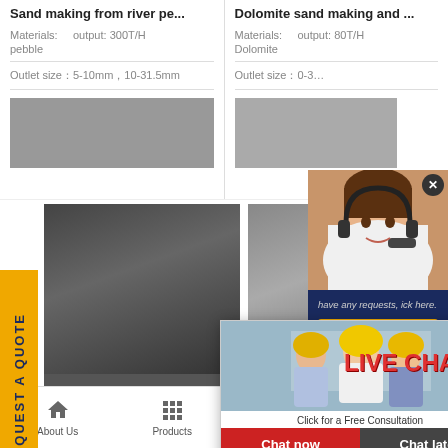Sand making from river pe...
Materials:   output: 300T/H
pebble
Outlet size：5-10mm，10-31.5mm
Dolomite sand making and ...
Materials:   output: 80T/H
Dolomite
Outlet size：0-3…
[Figure (photo): Granite crushing production site with industrial equipment]
Granite crushing productio...
[Figure (photo): Limestone powder production facility]
Limestone po…
[Figure (photo): Live chat popup with workers in hard hats. Title: LIVE CHAT. Subtitle: Click for a Free Consultation. Buttons: Chat now, Chat later]
[Figure (photo): Female customer service agent with headset]
have any requests, ick here.
Quotation
Enquiry
drobilkalm@gmail.com
About Us   Products   Projects   Contact